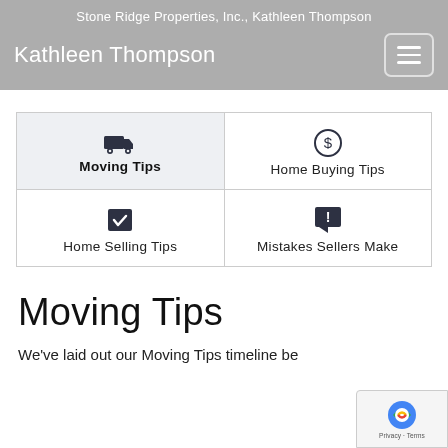Stone Ridge Properties, Inc., Kathleen Thompson
Kathleen Thompson
[Figure (screenshot): Navigation menu grid with four cells: Moving Tips (active/highlighted), Home Buying Tips, Home Selling Tips, Mistakes Sellers Make, each with an icon]
Moving Tips
We've laid out our Moving Tips timeline be...